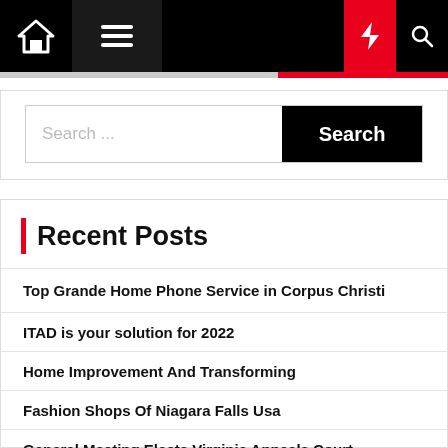Navigation bar with home icon, hamburger menu, moon icon, lightning/flash icon, search icon
Search ...
Recent Posts
Top Grande Home Phone Service in Corpus Christi
ITAD is your solution for 2022
Home Improvement And Transforming
Fashion Shops Of Niagara Falls Usa
General Meeting Elects Virginia Appeals Court